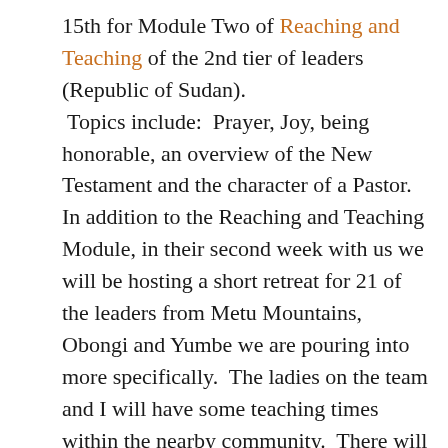15th for Module Two of Reaching and Teaching of the 2nd tier of leaders (Republic of Sudan). Topics include: Prayer, Joy, being honorable, an overview of the New Testament and the character of a Pastor. In addition to the Reaching and Teaching Module, in their second week with us we will be hosting a short retreat for 21 of the leaders from Metu Mountains, Obongi and Yumbe we are pouring into more specifically. The ladies on the team and I will have some teaching times within the nearby community. There will also be outreaches into the Metu Mountains and Yumbe;one-on-one evangelism, open air preaching in a market, and Jesus Film in Aringa.
Don Fredricks ( Jacob became good friends with Don in Pakistan) will be here September 5-7 for some Agricultural consultation and demonstration.